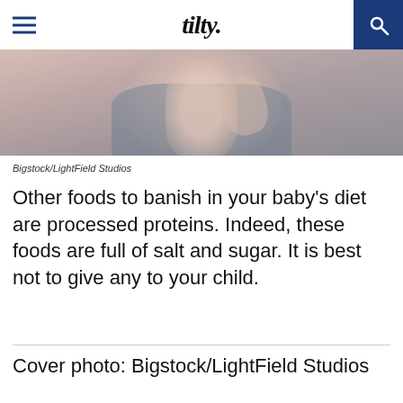tilty.
[Figure (photo): Cropped photo of a person, blurred, showing face/neck and blue/grey shirt top, Bigstock/LightField Studios]
Bigstock/LightField Studios
Other foods to banish in your baby’s diet are processed proteins. Indeed, these foods are full of salt and sugar. It is best not to give any to your child.
Cover photo: Bigstock/LightField Studios